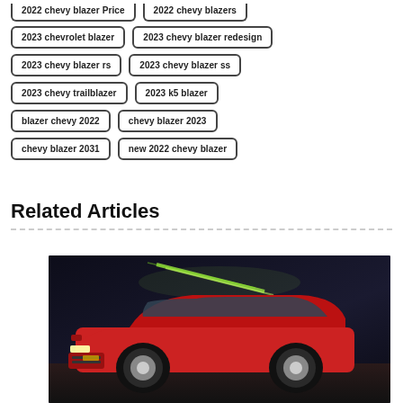2022 chevy blazer Price
2022 chevy blazers
2023 chevrolet blazer
2023 chevy blazer redesign
2023 chevy blazer rs
2023 chevy blazer ss
2023 chevy trailblazer
2023 k5 blazer
blazer chevy 2022
chevy blazer 2023
chevy blazer 2031
new 2022 chevy blazer
Related Articles
[Figure (photo): A red Chevrolet Blazer SUV photographed at night in a parking garage with dramatic lighting and green/yellow light streaks in the background.]